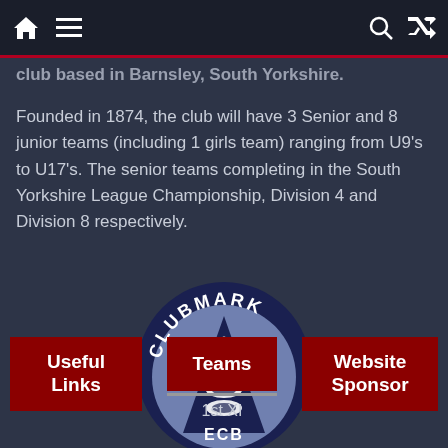Navigation bar with home, menu, search, and shuffle icons
club based in Barnsley, South Yorkshire.
Founded in 1874, the club will have 3 Senior and 8 junior teams (including 1 girls team) ranging from U9's to U17's. The senior teams completing in the South Yorkshire League Championship, Division 4 and Division 8 respectively.
[Figure (logo): ECB Clubmark circular logo with three lions crest and dark navy/light blue colors]
Useful Links
Teams
Website Sponsor
1st XI